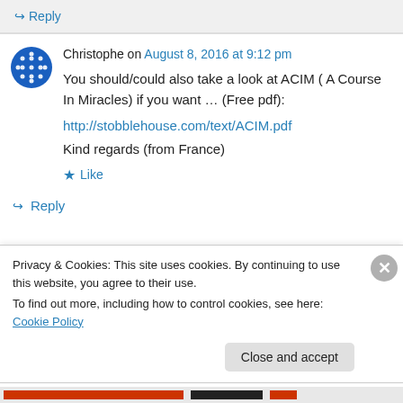↳ Reply
Christophe on August 8, 2016 at 9:12 pm
You should/could also take a look at ACIM ( A Course In Miracles) if you want … (Free pdf): http://stobblehouse.com/text/ACIM.pdf Kind regards (from France)
★ Like
↳ Reply
Privacy & Cookies: This site uses cookies. By continuing to use this website, you agree to their use.
To find out more, including how to control cookies, see here: Cookie Policy
Close and accept